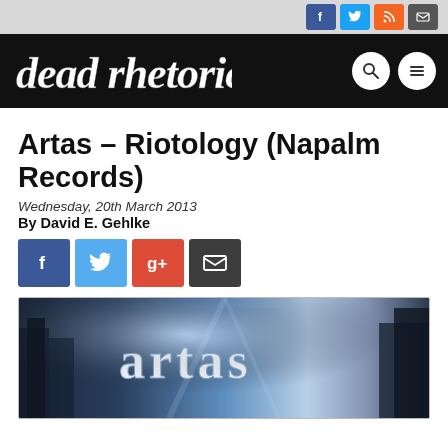dead rhetoric - social icons header
Artas – Riotology (Napalm Records)
Wednesday, 20th March 2013
By David E. Gehlke
[Figure (illustration): Share buttons row: Facebook (blue), Twitter (light blue), Google+ (red), Email (dark gray)]
[Figure (photo): Artas band/album artwork image showing stylized gothic lettering 'Artas' with blue dramatic lighting and city background]